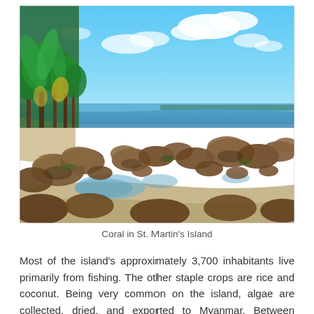[Figure (photo): Coastal rocky shoreline with tide pools in the foreground, sandy beach and lush green tropical trees on the left, calm blue ocean water and partly cloudy sky in the background. The scene depicts the coral rocky beach of St. Martin's Island.]
Coral in St. Martin's Island
Most of the island's approximately 3,700 inhabitants live primarily from fishing. The other staple crops are rice and coconut. Being very common on the island, algae are collected, dried, and exported to Myanmar. Between October and April, the fishermen from neighboring areas bring their caught fishes to the island's temporary wholesale market. However, imports